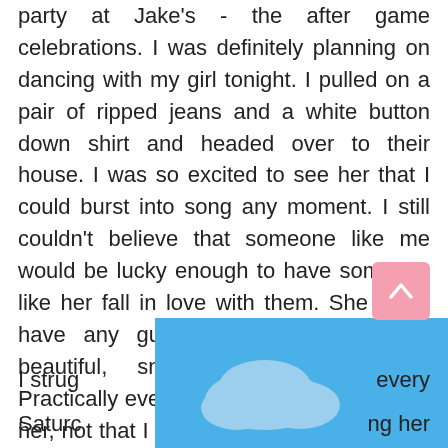party at Jake's - the after game celebrations. I was definitely planning on dancing with my girl tonight. I pulled on a pair of ripped jeans and a white button down shirt and headed over to their house. I was so excited to see her that I could burst into song any moment. I still couldn't believe that someone like me would be lucky enough to have someone like her fall in love with them. She could have any guy she wanted; she was beautiful, smart, funny, and kind. Practically every guy in school lusted after her, not that I could blame them; her body was just out of this world, all that dancing…..
[Figure (screenshot): Blue sky with clouds banner/widget overlaying the bottom portion of the page, partially covering text]
I struggled every Saturday …ng her